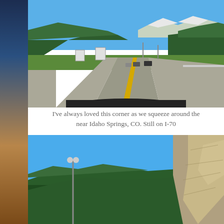[Figure (photo): View from car dashboard looking forward on a divided highway (I-70) with green tree-covered hills on both sides, mountains with snow in the far background, blue sky, and a few cars ahead on the road. Yellow center line visible on the road.]
I've always loved this corner as we squeeze around the near Idaho Springs, CO. Still on I-70
[Figure (photo): View of a rocky cliff face on the right and green tree-covered mountain slopes on the left under a bright blue sky, taken from a car on I-70 near Idaho Springs, Colorado.]